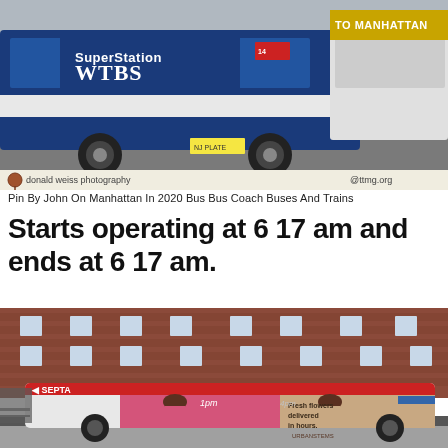[Figure (photo): Photo of a blue and white bus with 'Super Station WTBS' and 'TO MANHATTAN' text on it, in a parking area. Credit: donald weiss photography / ttmg.org]
Pin By John On Manhattan In 2020 Bus Bus Coach Buses And Trains
Starts operating at 6 17 am and ends at 6 17 am.
[Figure (photo): Photo of a SEPTA bus with a pink and tan advertisement wrap reading 'Fresh flowers delivered in hours. Urbanstems' parked on a city street in front of a brick row house building.]